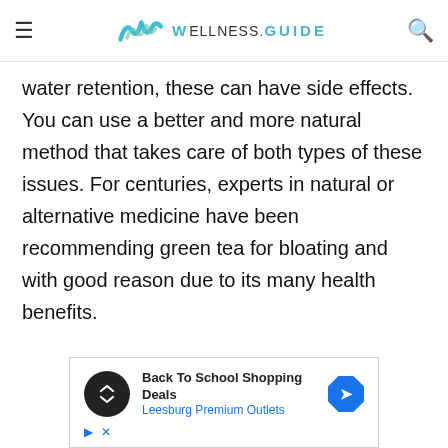WELLNESS.GUIDE
water retention, these can have side effects. You can use a better and more natural method that takes care of both types of these issues. For centuries, experts in natural or alternative medicine have been recommending green tea for bloating and with good reason due to its many health benefits.
[Figure (other): Advertisement banner: Back To School Shopping Deals - Leesburg Premium Outlets, with a black circular icon with arrows, a blue diamond navigation arrow icon, and play/close controls.]